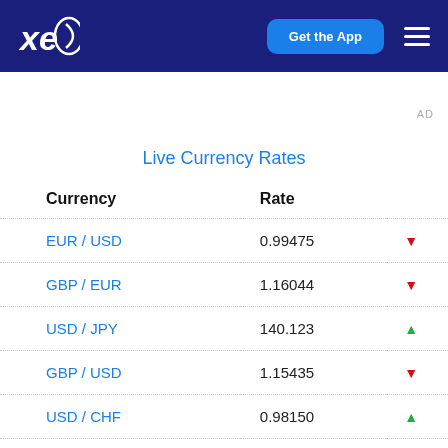[Figure (logo): XE currency logo in white on dark blue header]
Get the App
AD
Live Currency Rates
| Currency | Rate |  |
| --- | --- | --- |
| EUR / USD | 0.99475 | ▼ |
| GBP / EUR | 1.16044 | ▼ |
| USD / JPY | 140.123 | ▲ |
| GBP / USD | 1.15435 | ▼ |
| USD / CHF | 0.98150 | ▲ |
| USD / CAD | 1.31549 | ▲ |
| EUR / JPY | 139.389 | ▲ |
| AUD / USD | 0.97… |  |